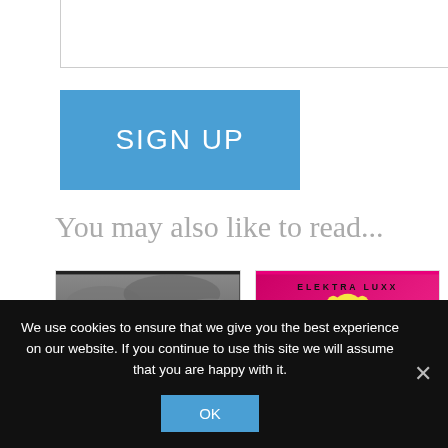[Figure (screenshot): Partial top border element suggesting a form or input box]
[Figure (illustration): Blue SIGN UP button]
You may also like to read...
[Figure (photo): Zombies movie poster with dark cloudy sky, a figure in red, zombie hands at bottom, and text '7OMDIIEC' at bottom]
[Figure (illustration): Elektra Luxx movie poster with pink/magenta background, illustrated blonde woman in black corset and stockings, text 'ELEKTRA LUXX' at top]
We use cookies to ensure that we give you the best experience on our website. If you continue to use this site we will assume that you are happy with it.
[Figure (illustration): OK button in blue]